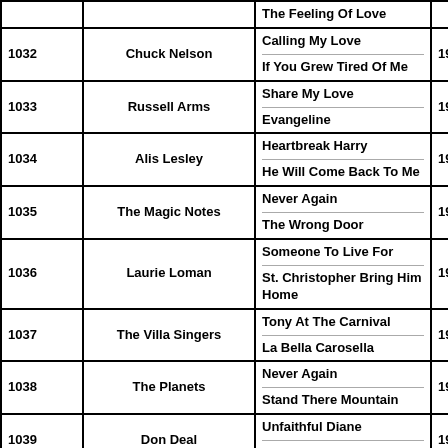| # | Artist | Songs | Year |
| --- | --- | --- | --- |
|  |  | The Feeling Of Love |  |
| 1032 | Chuck Nelson | Calling My Love / If You Grew Tired Of Me | 1956 |
| 1033 | Russell Arms | Share My Love / Evangeline | 1957 |
| 1034 | Alis Lesley | Heartbreak Harry / He Will Come Back To Me | 1957 |
| 1035 | The Magic Notes | Never Again / The Wrong Door | 1957 |
| 1036 | Laurie Loman | Someone To Live For / St. Christopher Bring Him Home | 1957 |
| 1037 | The Villa Singers | Tony At The Carnival / La Bella Carosella | 1957 |
| 1038 | The Planets | Never Again / Stand There Mountain | 1957 |
| 1039 | Don Deal | Unfaithful Diane / Devil Of Deceit | 1957 |
|  |  |  |  |